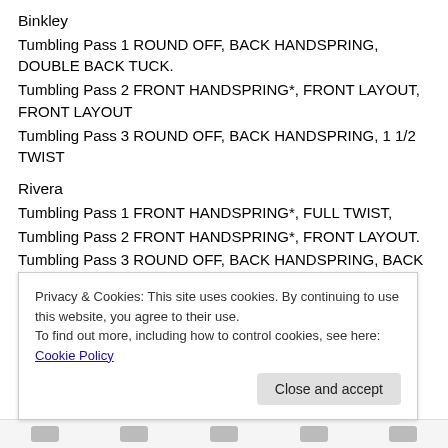Binkley
Tumbling Pass 1 ROUND OFF, BACK HANDSPRING, DOUBLE BACK TUCK.
Tumbling Pass 2 FRONT HANDSPRING*, FRONT LAYOUT, FRONT LAYOUT
Tumbling Pass 3 ROUND OFF, BACK HANDSPRING, 1 1/2 TWIST
Rivera
Tumbling Pass 1 FRONT HANDSPRING*, FULL TWIST,
Tumbling Pass 2 FRONT HANDSPRING*, FRONT LAYOUT.
Tumbling Pass 3 ROUND OFF, BACK HANDSPRING, BACK LAYOUT.
Albert
Tumbling Pass 1: Front flip, RO, BHS, 2 twists.
Privacy & Cookies: This site uses cookies. By continuing to use this website, you agree to their use. To find out more, including how to control cookies, see here: Cookie Policy
Close and accept